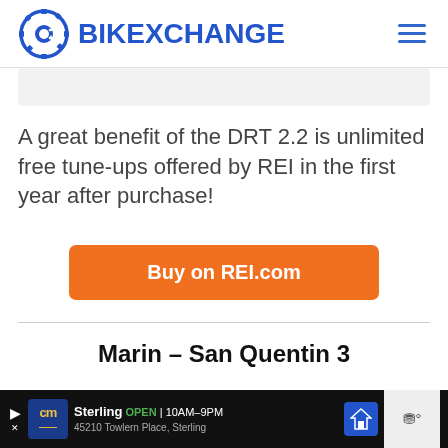BIKEXCHANGE
A great benefit of the DRT 2.2 is unlimited free tune-ups offered by REI in the first year after purchase!
Buy on REI.com
Marin – San Quentin 3
Sterling OPEN 10AM–9PM 45210 Towlern Place, Sterling